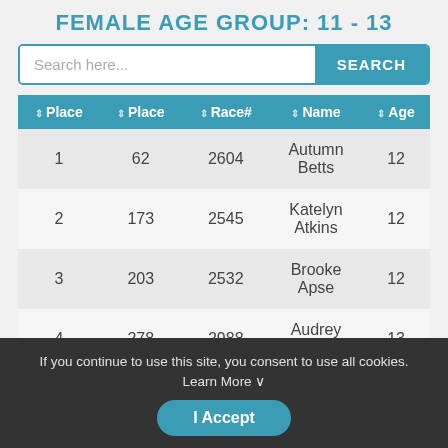FEMALE AGE GROUP: 11 - 13
| ⇕ Place | ⇕ Place | ⇕ Race# | ⇕ Name | ⇕ Age |
| --- | --- | --- | --- | --- |
| 1 | 62 | 2604 | Autumn Betts | 12 |
| 2 | 173 | 2545 | Katelyn Atkins | 12 |
| 3 | 203 | 2532 | Brooke Apse | 12 |
| 4 | 278 | 2988 | Audrey Groger | 13 |
If you continue to use this site, you consent to use all cookies. Learn More ∨
I Accept